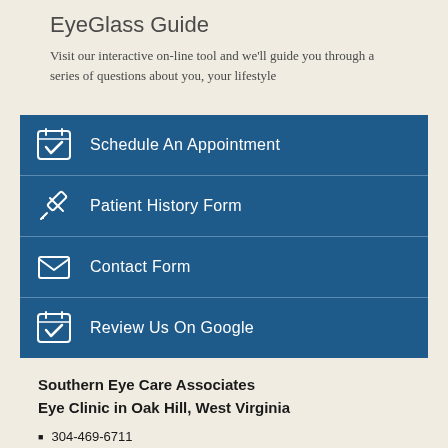EyeGlass Guide
Visit our interactive on-line tool and we'll guide you through a series of questions about you, your lifestyle
Schedule An Appointment
Patient History Form
Contact Form
Review Us On Google
Southern Eye Care Associates
Eye Clinic in Oak Hill, West Virginia
304-469-6711